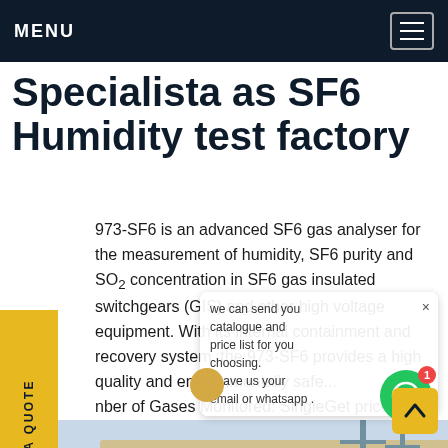MENU
Specialista as SF6 Humidity test factory
973-SF6 is an advanced SF6 gas analyser for the measurement of humidity, SF6 purity and SO2 concentration in SF6 gas insulated switchgears (GIS) and other high voltage equipment. With its internal containment and recovery system, the 973-SF6 provides a high quality and environmentally safe... nber of Gases Monitored: SingleGet price
[Figure (photo): Yellow SF6 equipment truck or vehicle with overhead power lines in background, outdoor substation setting]